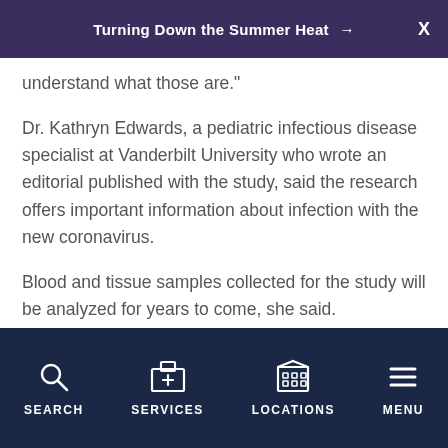Turning Down the Summer Heat →
understand what those are."
Dr. Kathryn Edwards, a pediatric infectious disease specialist at Vanderbilt University who wrote an editorial published with the study, said the research offers important information about infection with the new coronavirus.
Blood and tissue samples collected for the study will be analyzed for years to come, she said.
"I think those are all in the freezer, so to speak, and are being dissected. So, I think that should be very
SEARCH   SERVICES   LOCATIONS   MENU